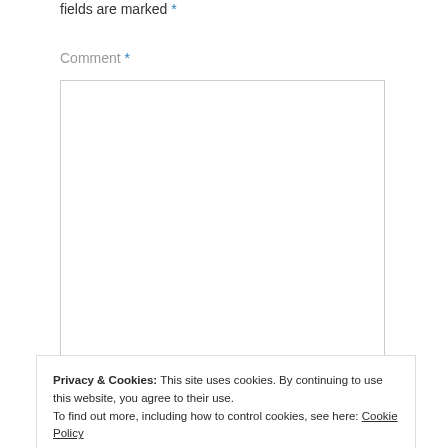fields are marked *
Comment *
[Figure (other): Empty comment textarea input box with light gray border]
Privacy & Cookies: This site uses cookies. By continuing to use this website, you agree to their use. To find out more, including how to control cookies, see here: Cookie Policy
Close and accept
Email *